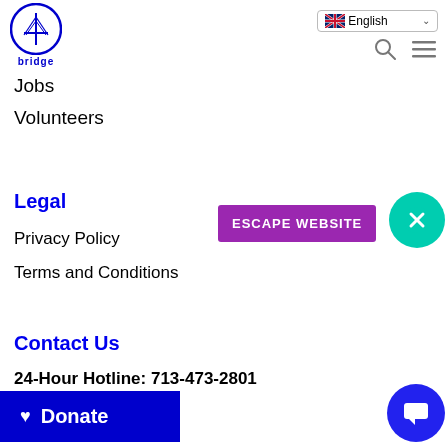[Figure (logo): Bridge organization logo — circular blue emblem with 'bridge' text below]
English (language selector) | Search icon | Menu icon
Jobs
Volunteers
Legal
Privacy Policy
Terms and Conditions
Contact Us
24-Hour Hotline: 713-473-2801
address line
8295 John Martin Rd.